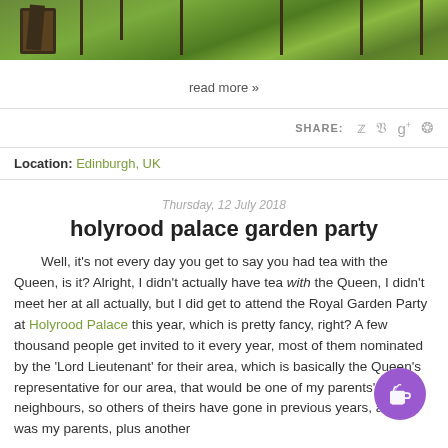[Figure (photo): Cropped top portion of a green countryside/garden photo with fence posts]
read more »
SHARE: [twitter] [facebook] [google+] [pinterest]
Location: Edinburgh, UK
Thursday, 12 July 2018
holyrood palace garden party
Well, it's not every day you get to say you had tea with the Queen, is it? Alright, I didn't actually have tea with the Queen, I didn't meet her at all actually, but I did get to attend the Royal Garden Party at Holyrood Palace this year, which is pretty fancy, right? A few thousand people get invited to it every year, most of them nominated by the 'Lord Lieutenant' for their area, which is basically the Queen's representative for our area, that would be one of my parents' neighbours, so others of theirs have gone in previous years, and it was my parents, plus another
[Figure (illustration): Buy me a coffee button - purple circle with coffee cup icon]